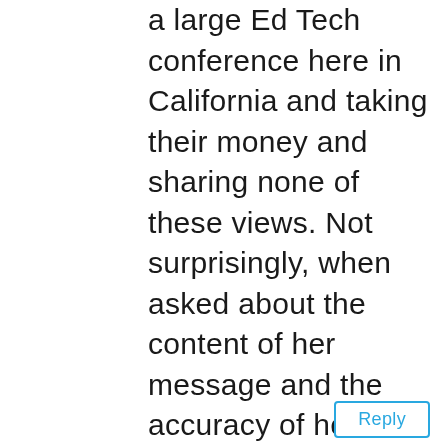a large Ed Tech conference here in California and taking their money and sharing none of these views. Not surprisingly, when asked about the content of her message and the accuracy of her claims, her only response was to laud herself for receiving a standing ovation... not unlike allowing high stakes test scores to serve as a simplistic analysis of an entire school.
Reply